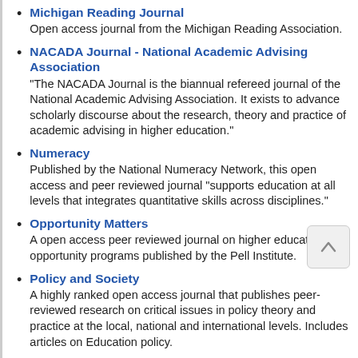Michigan Reading Journal
Open access journal from the Michigan Reading Association.
NACADA Journal - National Academic Advising Association
"The NACADA Journal is the biannual refereed journal of the National Academic Advising Association. It exists to advance scholarly discourse about the research, theory and practice of academic advising in higher education."
Numeracy
Published by the National Numeracy Network, this open access and peer reviewed journal "supports education at all levels that integrates quantitative skills across disciplines."
Opportunity Matters
A open access peer reviewed journal on higher education opportunity programs published by the Pell Institute.
Policy and Society
A highly ranked open access journal that publishes peer-reviewed research on critical issues in policy theory and practice at the local, national and international levels. Includes articles on Education policy.
Reading Research Quarterly
RRQ publishes peer reviewed scholarship on literacy, including